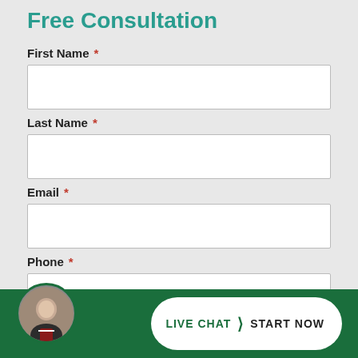Free Consultation
First Name *
Last Name *
Email *
Phone *
Messa...
LIVE CHAT > START NOW